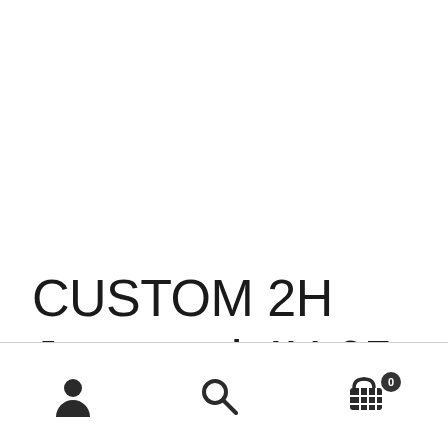CUSTOM 2H Jeep and 4H 65 Mustang Wall Hooks
[Figure (other): Bottom navigation bar with user account icon, search icon, and shopping cart icon with badge showing 0]